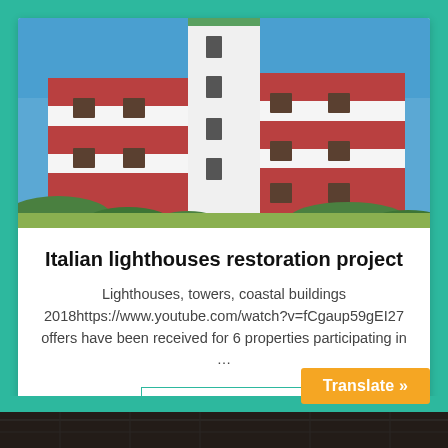[Figure (photo): Photograph of an Italian lighthouse building with red and white horizontal stripes, white central tower, against a blue sky with green vegetation at the base.]
Italian lighthouses restoration project
Lighthouses, towers, coastal buildings 2018https://www.youtube.com/watch?v=fCgaup59gEI27 offers have been received for 6 properties participating in …
Read more
Translate »